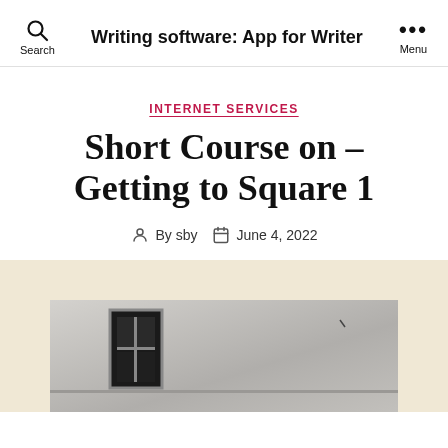Writing software: App for Writer
INTERNET SERVICES
Short Course on – Getting to Square 1
By sby    June 4, 2022
[Figure (photo): Black and white photograph showing a building exterior with a window and concrete wall, partially visible at the bottom of the page on a cream/beige background.]